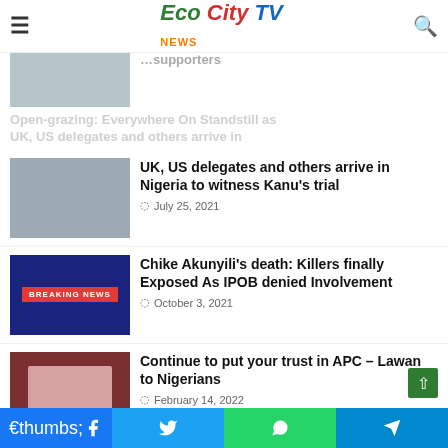Eco City TV News
UK, US delegates and others arrive in Nigeria to witness Kanu's trial
July 25, 2021
Chike Akunyili's death: Killers finally Exposed As IPOB denied Involvement
October 3, 2021
Continue to put your trust in APC – Lawan to Nigerians
February 14, 2022
Open-grazing: "any Igbo governor that will follow such decision will never escape the malevolence and venomous action of the the people" Ohangeze blows Hot, Warns Hope